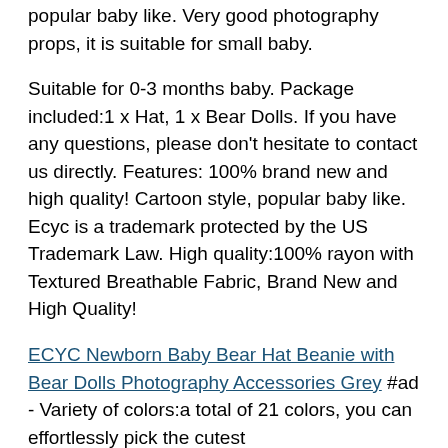popular baby like. Very good photography props, it is suitable for small baby.
Suitable for 0-3 months baby. Package included:1 x Hat, 1 x Bear Dolls. If you have any questions, please don't hesitate to contact us directly. Features: 100% brand new and high quality! Cartoon style, popular baby like. Ecyc is a trademark protected by the US Trademark Law. High quality:100% rayon with Textured Breathable Fabric, Brand New and High Quality!
ECYC Newborn Baby Bear Hat Beanie with Bear Dolls Photography Accessories Grey #ad - Variety of colors:a total of 21 colors, you can effortlessly pick the cutest